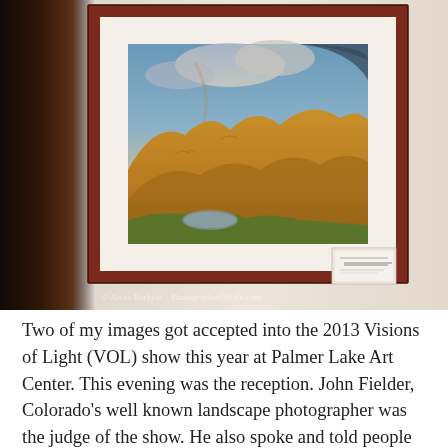[Figure (photo): A framed landscape photograph hanging on a wall at an art gallery. The frame is dark reddish-brown wood. The photograph shows mountain scenery with golden hills, a small lake, and dramatic cloudy sky. A small label card is mounted on the wall below the frame. A person's silhouette is visible on the left edge. The photo has a watermark reading '© Aivas Rarbyte – PhotographerOfLife.com'.]
Two of my images got accepted into the 2013 Visions of Light (VOL) show this year at Palmer Lake Art Center. This evening was the reception. John Fielder, Colorado's well known landscape photographer was the judge of the show. He also spoke and told people why he picked the